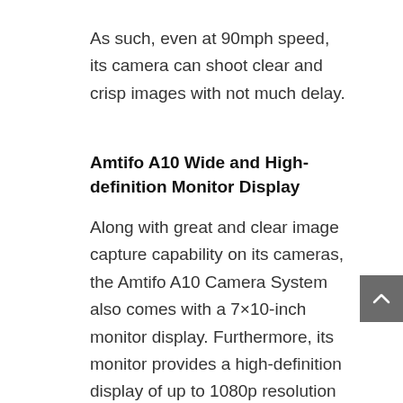As such, even at 90mph speed, its camera can shoot clear and crisp images with not much delay.
Amtifo A10 Wide and High-definition Monitor Display
Along with great and clear image capture capability on its cameras, the Amtifo A10 Camera System also comes with a 7×10-inch monitor display. Furthermore, its monitor provides a high-definition display of up to 1080p resolution for video playback for clearer perspectives when backing up.